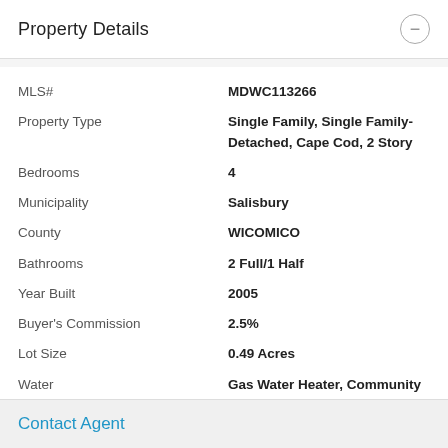Property Details
| Field | Value |
| --- | --- |
| MLS# | MDWC113266 |
| Property Type | Single Family, Single Family-Detached, Cape Cod, 2 Story |
| Bedrooms | 4 |
| Municipality | Salisbury |
| County | WICOMICO |
| Bathrooms | 2 Full/1 Half |
| Year Built | 2005 |
| Buyer's Commission | 2.5% |
| Lot Size | 0.49 Acres |
| Water | Gas Water Heater, Community Water |
| Construction | Stick Built, Brick, Vinyl Siding |
Contact Agent